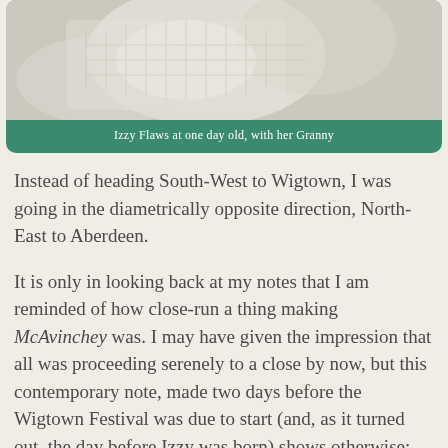[Figure (photo): Close-up photo of a newborn baby wrapped in a white knitted blanket, with what appears to be an older person (Granny) nearby. The image is soft and warm-toned.]
Izzy Flaws at one day old, with her Granny
Instead of heading South-West to Wigtown, I was going in the diametrically opposite direction, North-East to Aberdeen.
It is only in looking back at my notes that I am reminded of how close-run a thing making McAvinchey was. I may have given the impression that all was proceeding serenely to a close by now, but this contemporary note, made two days before the Wigtown Festival was due to start (and, as it turned out, the day before Izzy was born) shows otherwise: